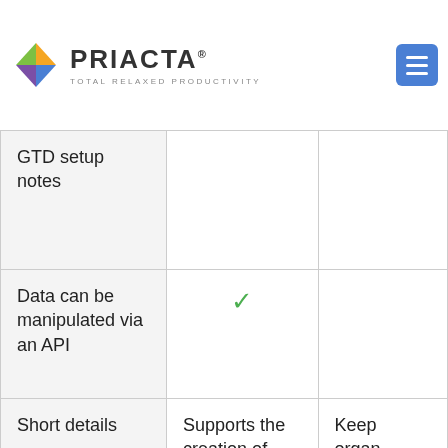PRIACTA® TOTAL RELAXED PRODUCTIVITY
| GTD setup notes |  |  |
| Data can be manipulated via an API | ✓ |  |
| Short details | Supports the creation of groups, appointments, tasks, and outbound e-mails. Offers drag-and-dropping to organize contacts, standard links to web pages and other programs, and summary generation for contacts. Also supports sending | Keep org auto the rig mess conv single proje tasks. |